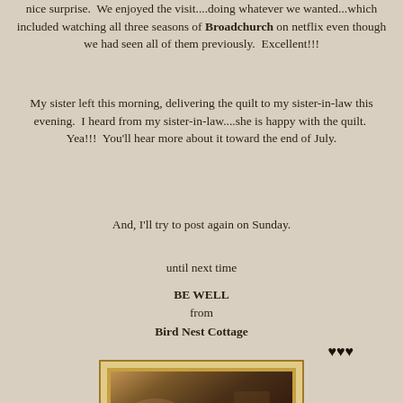nice surprise.  We enjoyed the visit....doing whatever we wanted...which included watching all three seasons of Broadchurch on netflix even though we had seen all of them previously.  Excellent!!!
My sister left this morning, delivering the quilt to my sister-in-law this evening.  I heard from my sister-in-law....she is happy with the quilt.  Yea!!!  You'll hear more about it toward the end of July.
And, I'll try to post again on Sunday.
until next time
BE WELL
from
Bird Nest Cottage
♥♥♥
[Figure (photo): A painting or photograph displayed in an ornate gold decorative frame, showing what appears to be a figure or bird scene with dark warm tones.]